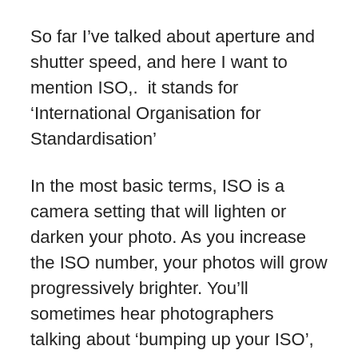So far I've talked about aperture and shutter speed, and here I want to mention ISO,.  it stands for 'International Organisation for Standardisation'
In the most basic terms, ISO is a camera setting that will lighten or darken your photo. As you increase the ISO number, your photos will grow progressively brighter. You'll sometimes hear photographers talking about 'bumping up your ISO', this is because raising your ISO can help you capture images in darker environments, or allow you more creativity with your aperture or shutter